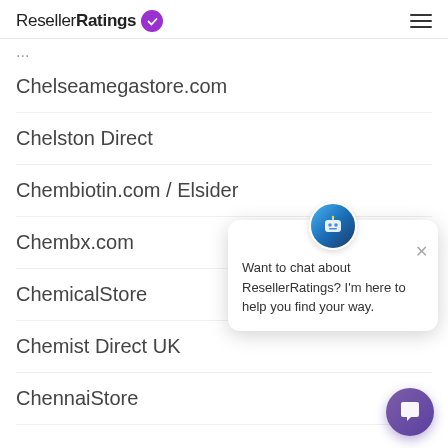ResellerRatings
Chelseamegastore.com
Chelston Direct
Chembiotin.com / Elsider
Chembx.com
ChemicalStore
Chemist Direct UK
ChennaiStore
[Figure (screenshot): Chat popup widget with avatar icon and message: Want to chat about ResellerRatings? I'm here to help you find your way. With a close (X) button and a purple chat launcher button.]